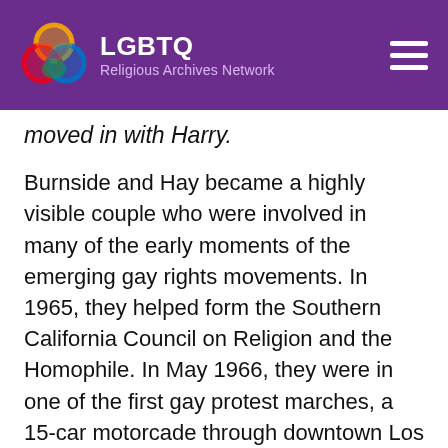LGBTQ Religious Archives Network
moved in with Harry.
Burnside and Hay became a highly visible couple who were involved in many of the early moments of the emerging gay rights movements. In 1965, they helped form the Southern California Council on Religion and the Homophile. In May 1966, they were in one of the first gay protest marches, a 15-car motorcade through downtown Los Angeles protesting the military's exclusion of homosexuals. They appeared as a couple on the Joe Pyne television show in Los Angeles in 1967. In 1969, they were part of the founding meetings of the Southern California Gay Liberation Front which met in John's factory.